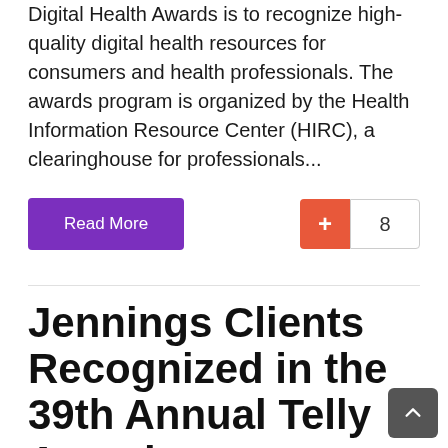Digital Health Awards is to recognize high-quality digital health resources for consumers and health professionals. The awards program is organized by the Health Information Resource Center (HIRC), a clearinghouse for professionals...
Read More
8
Jennings Clients Recognized in the 39th Annual Telly Awards